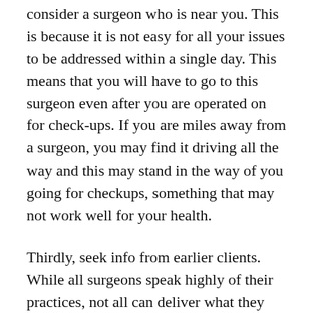consider a surgeon who is near you. This is because it is not easy for all your issues to be addressed within a single day. This means that you will have to go to this surgeon even after you are operated on for check-ups. If you are miles away from a surgeon, you may find it driving all the way and this may stand in the way of you going for checkups, something that may not work well for your health.
Thirdly, seek info from earlier clients. While all surgeons speak highly of their practices, not all can deliver what they claim. However, their past clients can. If you're comfortable disclosing to the people you trust that you're about to have surgery, this is great. People who have had surgeries like yours are a great source